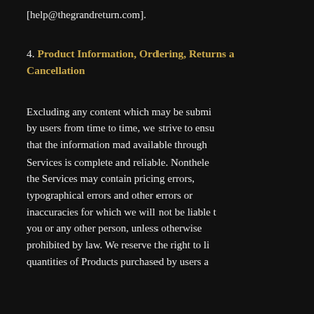[help@thegrandreturn.com].
4. Product Information, Ordering, Returns and Cancellation
Excluding any content which may be submitted by users from time to time, we strive to ensure that the information mad available through our Services is complete and reliable. Nonetheless, the Services may contain pricing errors, typographical errors and other errors or inaccuracies for which we will not be liable to you or any other person, unless otherwise prohibited by law. We reserve the right to limit quantities of Products purchased by users and